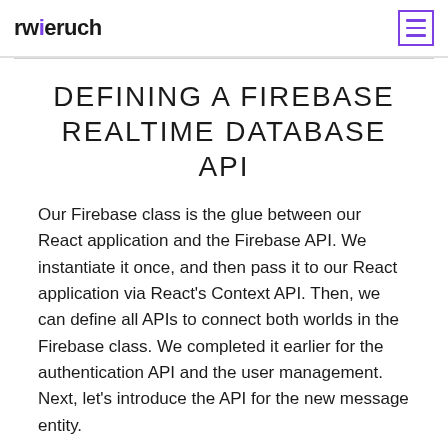rwieruch
DEFINING A FIREBASE REALTIME DATABASE API
Our Firebase class is the glue between our React application and the Firebase API. We instantiate it once, and then pass it to our React application via React's Context API. Then, we can define all APIs to connect both worlds in the Firebase class. We completed it earlier for the authentication API and the user management. Next, let's introduce the API for the new message entity.